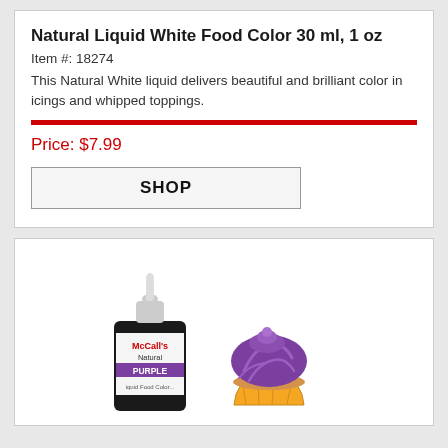Natural Liquid White Food Color 30 ml, 1 oz
Item #: 18274
This Natural White liquid delivers beautiful and brilliant color in icings and whipped toppings.
Price: $7.99
SHOP
[Figure (photo): McCall's Natural Purple Liquid Food Color bottle next to a purple-frosted cupcake]